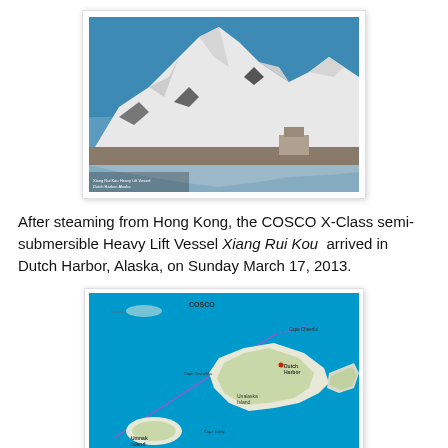[Figure (photo): Snow-covered mountain peaks reflected in calm water below, photographed from water level. Clear blue sky in background. A structure is partially visible at the base of the mountain. Small caption text in lower-left corner of the photo.]
After steaming from Hong Kong, the COSCO X-Class semi-submersible Heavy Lift Vessel Xiang Rui Kou  arrived in Dutch Harbor, Alaska, on Sunday March 17, 2013.
[Figure (map): Satellite/illustrated map showing the Aleutian Islands chain of Alaska in blue water. Shows islands including Umnak Island, Unalaska Island (Dutch Harbor area), and others. A pink/magenta line traces a route across the map. Labels include 'Cape Cheerful', 'Cape Kovrizhka', 'Cape Tolsty', 'Unalaska Island', 'Dutch Harbor', and 'Umnak Island' among others. The word 'COSCO' appears at the top of the map.]